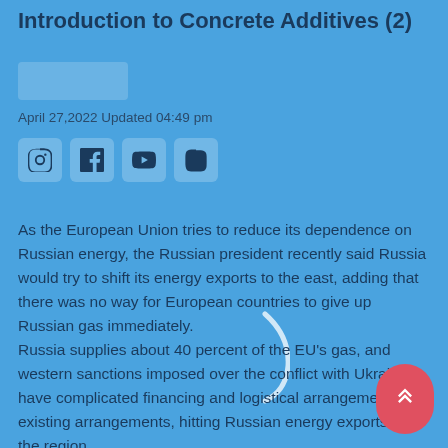Introduction to Concrete Additives (2)
April 27,2022 Updated 04:49 pm
[Figure (other): Social media icons: Instagram, Facebook, YouTube, Instagram]
As the European Union tries to reduce its dependence on Russian energy, the Russian president recently said Russia would try to shift its energy exports to the east, adding that there was no way for European countries to give up Russian gas immediately.
Russia supplies about 40 percent of the EU's gas, and western sanctions imposed over the conflict with Ukraine have complicated financing and logistical arrangements for existing arrangements, hitting Russian energy exports to the region.